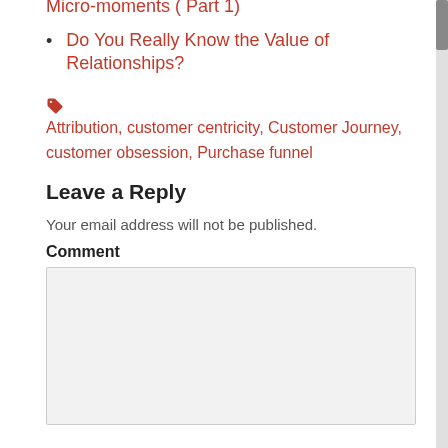Micro-moments ( Part 1)
Do You Really Know the Value of Relationships?
Attribution, customer centricity, Customer Journey, customer obsession, Purchase funnel
Leave a Reply
Your email address will not be published.
Comment